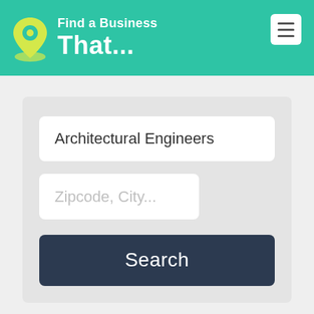Find a Business That...
[Figure (screenshot): Business directory search interface with header logo, location pin icon, business type field showing 'Architectural Engineers', location field with placeholder 'Zipcode, City...', and a dark blue Search button]
Architectural Engineers
Zipcode, City...
Search